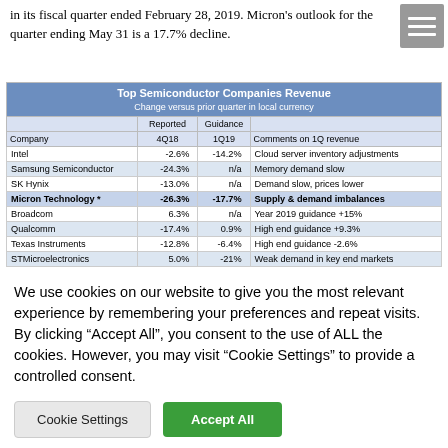in its fiscal quarter ended February 28, 2019. Micron's outlook for the quarter ending May 31 is a 17.7% decline.
| Company | Reported 4Q18 | Guidance 1Q19 | Comments on 1Q revenue |
| --- | --- | --- | --- |
| Intel | -2.6% | -14.2% | Cloud server inventory adjustments |
| Samsung Semiconductor | -24.3% | n/a | Memory demand slow |
| SK Hynix | -13.0% | n/a | Demand slow, prices lower |
| Micron Technology * | -26.3% | -17.7% | Supply & demand imbalances |
| Broadcom | 6.3% | n/a | Year 2019 guidance +15% |
| Qualcomm | -17.4% | 0.9% | High end guidance +9.3% |
| Texas Instruments | -12.8% | -6.4% | High end guidance -2.6% |
| STMicroelectronics | 5.0% | -21% | Weak demand in key end markets |
We use cookies on our website to give you the most relevant experience by remembering your preferences and repeat visits. By clicking "Accept All", you consent to the use of ALL the cookies. However, you may visit "Cookie Settings" to provide a controlled consent.